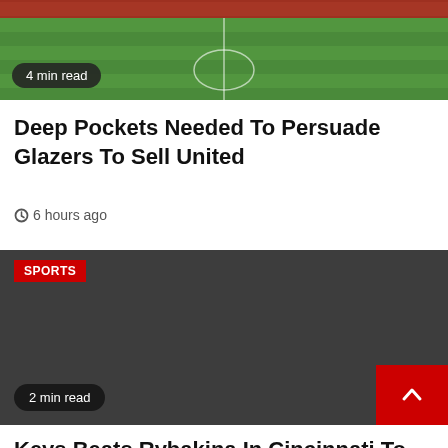[Figure (photo): Sports/soccer pitch aerial view with crowd at top, green field visible]
4 min read
Deep Pockets Needed To Persuade Glazers To Sell United
6 hours ago
[Figure (photo): Dark gray placeholder image with SPORTS badge label in red]
2 min read
Keys Beats Rybakina In Cincinnati To Set Up